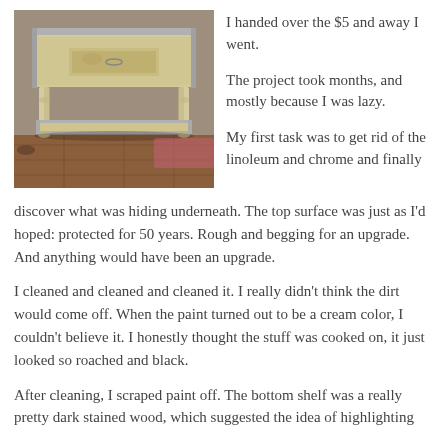[Figure (photo): Old worn kitchen table/cart with linoleum top, chrome edging, a small drawer, turned wooden legs, and a lower shelf. Photographed in a room with wooden flooring.]
I handed over the $5 and away I went.

The project took months, and mostly because I was lazy.

My first task was to get rid of the linoleum and chrome and finally discover what was hiding underneath. The top surface was just as I'd hoped: protected for 50 years. Rough and begging for an upgrade. And anything would have been an upgrade.

I cleaned and cleaned and cleaned it. I really didn't think the dirt would come off. When the paint turned out to be a cream color, I couldn't believe it. I honestly thought the stuff was cooked on, it just looked so roached and black.

After cleaning, I scraped paint off. The bottom shelf was a really pretty dark stained wood, which suggested the idea of highlighting the contrast between the two elements.